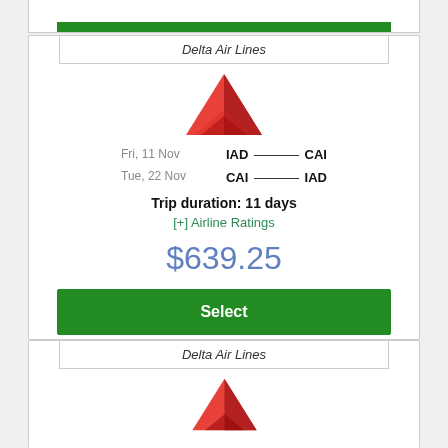[Figure (screenshot): Top portion of a flight booking card with a green Select button visible at the top]
Delta Air Lines
[Figure (logo): Delta Air Lines red triangle logo]
Fri, 11 Nov    IAD ——— CAI
Tue, 22 Nov   CAI ——— IAD
Trip duration: 11 days
[+] Airline Ratings
$639.25
Select
Delta Air Lines
[Figure (logo): Delta Air Lines red triangle logo (partial, second card)]